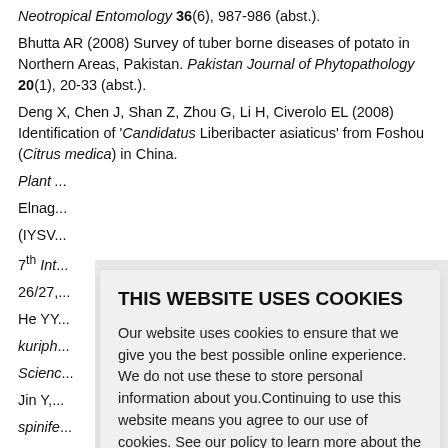Neotropical Entomology 36(6), 987-986 (abst.).
Bhutta AR (2008) Survey of tuber borne diseases of potato in Northern Areas, Pakistan. Pakistan Journal of Phytopathology 20(1), 20-33 (abst.).
Deng X, Chen J, Shan Z, Zhou G, Li H, Civerolo EL (2008) Identification of 'Candidatus Liberibacter asiaticus' from Foshou (Citrus medica) in China. Plant ...
Elnag... (IYSV... 7th Int... 26/27,...
He YY... kuriph... Scienc...
Jin Y,... spinife... (abst.)...
Kamir... apple proliferation and aster yellows phytoplasmas. Plant Pathology 57(2) p...
THIS WEBSITE USES COOKIES

Our website uses cookies to ensure that we give you the best possible online experience. We do not use these to store personal information about you.Continuing to use this website means you agree to our use of cookies. See our policy to learn more about the cookies we use.

Learn more

Accept